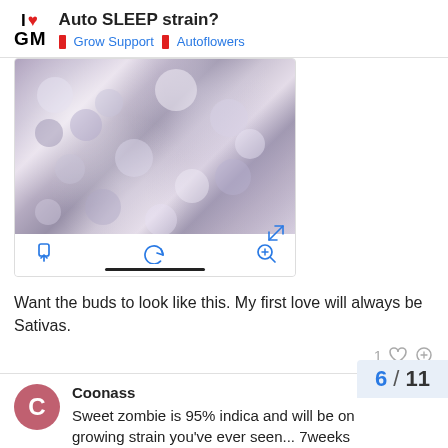I ♥ GM — Auto SLEEP strain? | Grow Support | Autoflowers
[Figure (screenshot): Close-up blurry image of cannabis buds with purple and white tones, shown as a mobile screenshot with share, reply, and zoom icons below it]
Want the buds to look like this. My first love will always be Sativas.
1 ♡ 🔗
Coonass  Jun 13
Sweet zombie is 95% indica and will be on growing strain you've ever seen... 7weeks
6 / 11